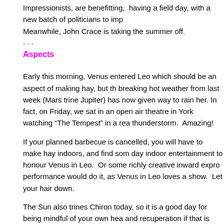Impressionists, are benefitting, having a field day, with a new batch of politicians to imp
Meanwhile, John Crace is taking the summer off.
Aspects
Early this morning, Venus entered Leo which should be an aspect of making hay, but the breaking hot weather from last week (Mars trine Jupiter) has now given way to rain her. In fact, on Friday, we sat in an open air theatre in York watching “The Tempest” in a rea thunderstorm.  Amazing!
If your planned barbecue is cancelled, you will have to make hay indoors, and find som day indoor entertainment to honour Venus in Leo.  Or some richly creative inward expro performance would do it, as Venus in Leo loves a show.  Let your hair down.
The Sun also trines Chiron today, so it is a good day for being mindful of your own hea and recuperation if that is appropriate.  If you overdid it last week (with all the Mars trin activity) today may be good for catching up with yourself.  There may be things that yo under the sweltering Sun last week, which you can do under the pouring rain or indoors quiet healing, but if you are performing and being creative under the entry of Venus into room for both, perhaps interspersed.
Monday (29th) is a little more hair-raising, with the Sun square Uranus.  Be prepared fo of the unexpected, or the Trickster Archetype.  You may sail through the day, as the act